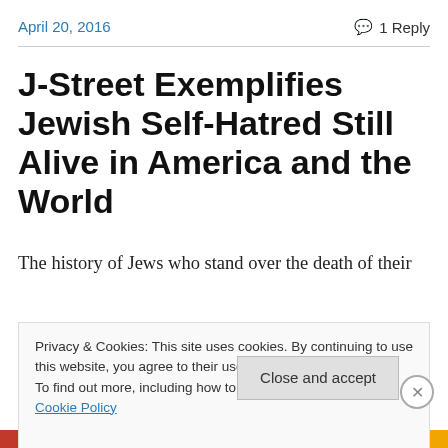April 20, 2016
1 Reply
J-Street Exemplifies Jewish Self-Hatred Still Alive in America and the World
The history of Jews who stand over the death of their
Privacy & Cookies: This site uses cookies. By continuing to use this website, you agree to their use. To find out more, including how to control cookies, see here: Cookie Policy
Close and accept